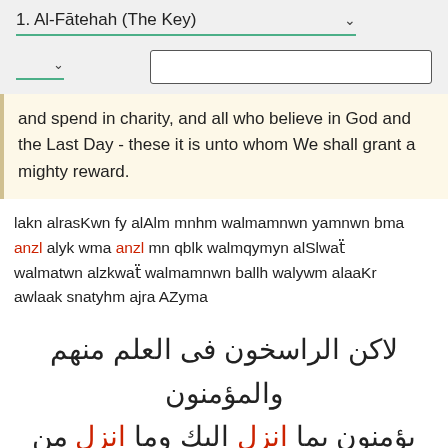1. Al-Fātehah (The Key)
and spend in charity, and all who believe in God and the Last Day - these it is unto whom We shall grant a mighty reward.
lakn alrasKwn fy alAlm mnhm walmamnwn yamnwn bma anzl alyk wma anzl mn qblk walmqymyn alSlwaẗ walmatwn alzkwaẗ walmamnwn ballh walywm alaaKr awlaak snatyhm ajra AZyma
لاكن الراسخون فى العلم منهم والمؤمنون يؤمنون بما انزل اليك وما انزل من قبلك والمقيمين الصلواة والمؤتون الزكواة